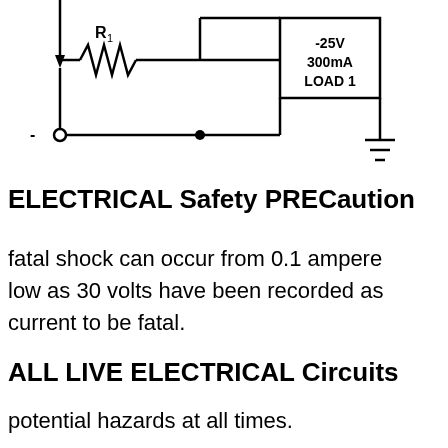[Figure (circuit-diagram): Partial circuit diagram showing a resistor R1 in series, connected to a load box labeled '-25V 300mA LOAD 1', with a ground symbol. A negative terminal is shown on the left.]
ELECTRICAL Safety PRECaution
fatal shock can occur from 0.1 ampere low as 30 volts have been recorded as current to be fatal.
ALL LIVE ELECTRICAL Circuits
potential hazards at all times.